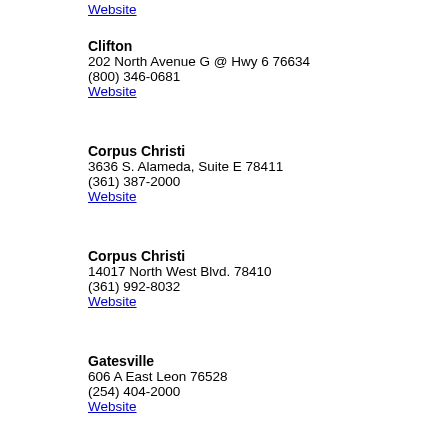Website
Clifton
202 North Avenue G @ Hwy 6 76634
(800) 346-0681
Website
Corpus Christi
3636 S. Alameda, Suite E 78411
(361) 387-2000
Website
Corpus Christi
14017 North West Blvd. 78410
(361) 992-8032
Website
Gatesville
606 A East Leon 76528
(254) 404-2000
Website
Georgetown
3613 Williams Drive, Suite 406 78628
(512) 864-0358
Website
Hillsboro
308 East Elm 76645
(254) 582-5466
Website